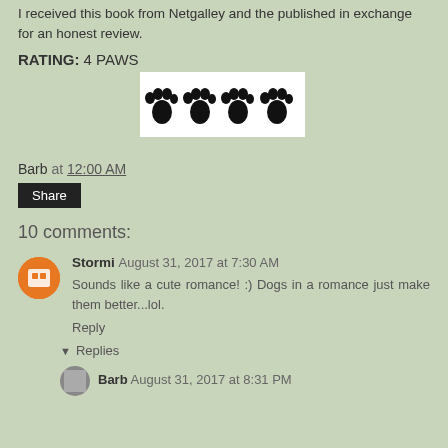I received this book from Netgalley and the published in exchange for an honest review.
RATING: 4 PAWS
[Figure (illustration): Four black paw print icons in a row on a white background]
Barb at 12:00 AM
Share
10 comments:
Stormi August 31, 2017 at 7:30 AM
Sounds like a cute romance! :) Dogs in a romance just make them better...lol.
Reply
Replies
Barb August 31, 2017 at 8:31 PM